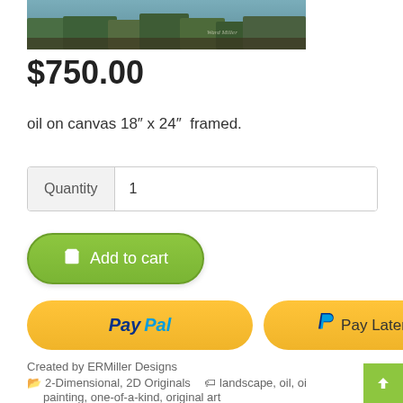[Figure (photo): Cropped bottom portion of a landscape oil painting showing green and blue tones with a signature visible]
$750.00
oil on canvas 18″ x 24″  framed.
| Quantity | 1 |
| --- | --- |
Add to cart
PayPal  Pay Later
Created by ERMiller Designs
2-Dimensional, 2D Originals   landscape, oil, oil painting, one-of-a-kind, original art